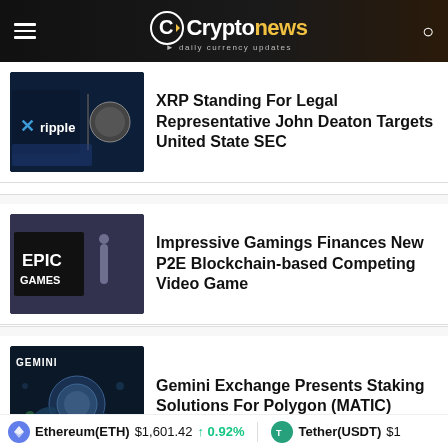Cryptonews · daily currency updates
XRP Standing For Legal Representative John Deaton Targets United State SEC
Impressive Gamings Finances New P2E Blockchain-based Competing Video Game
Gemini Exchange Presents Staking Solutions For Polygon (MATIC)
Ethereum(ETH) $1,601.42 ↑ 0.92%  Tether(USDT) $1